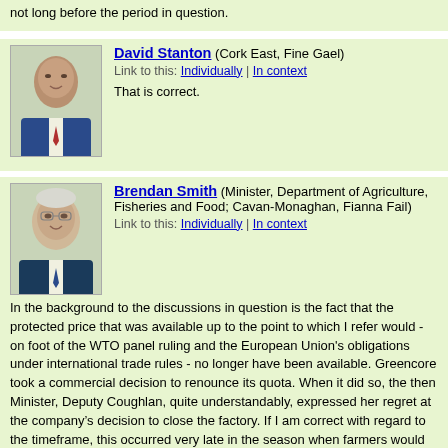not long before the period in question.
David Stanton (Cork East, Fine Gael)
Link to this: Individually | In context
That is correct.
Brendan Smith (Minister, Department of Agriculture, Fisheries and Food; Cavan-Monaghan, Fianna Fail)
Link to this: Individually | In context
In the background to the discussions in question is the fact that the protected price that was available up to the point to which I refer would - on foot of the WTO panel ruling and the European Union's obligations under international trade rules - no longer have been available. Greencore took a commercial decision to renounce its quota. When it did so, the then Minister, Deputy Coughlan, quite understandably, expressed her regret at the company's decision to close the factory. If I am correct with regard to the timeframe, this occurred very late in the season when farmers would have been making preparations in respect of the following season's crops.
In the negotiations relating to the compensation package that were under way at that time, the then Minister obtained a proviso that Ireland - if it availed of said package and if Greencore, as the quota holder, was to